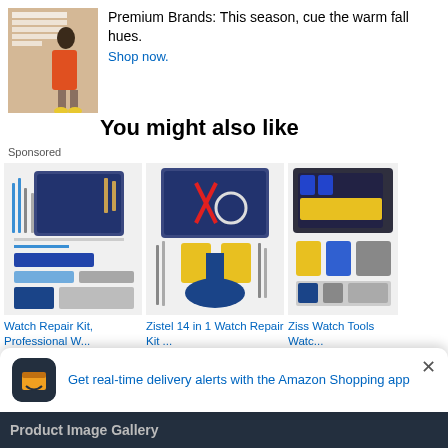[Figure (photo): Ad banner showing a model in orange jacket with text: PREMIUM BRANDS, THIS SEASON, CUE THE WARM FALL HUES, SHOP NOW]
Premium Brands: This season, cue the warm fall hues.
Shop now.
You might also like
Sponsored
[Figure (photo): Watch repair kit with blue tools spread on white background with blue carrying case]
Watch Repair Kit, Professional W...
★★★★☆ 191 reviews $29.90 prime
[Figure (photo): Zistel 14 in 1 Watch Repair Kit with blue tools and carrying case]
Zistel 14 in 1 Watch Repair Kit ...
★★★★☆ 329 reviews $24.49 prime
[Figure (photo): Ziss Watch Tools Watch repair kit with blue and silver tools]
Ziss Watch Tools Watc...
★★★★½ 1594 reviews $27.49
Get real-time delivery alerts with the Amazon Shopping app
Product Image Gallery